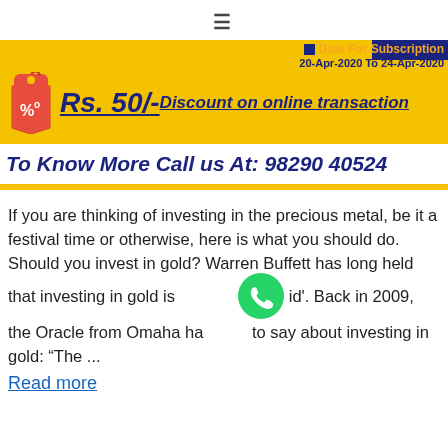≡
[Figure (infographic): Yellow promotional banner for a financial subscription offer. Shows a discount tag icon, price Rs. 50/- Discount on online transaction, Date For Subscription 20-Apr-2020 To 24-Apr-2020, and a call to action: To Know More Call us At: 98290 40524]
If you are thinking of investing in the precious metal, be it a festival time or otherwise, here is what you should do. Should you invest in gold? Warren Buffett has long held that investing in gold is 'stupid'. Back in 2009, the Oracle from Omaha had this to say about investing in gold: "The ...
Read more